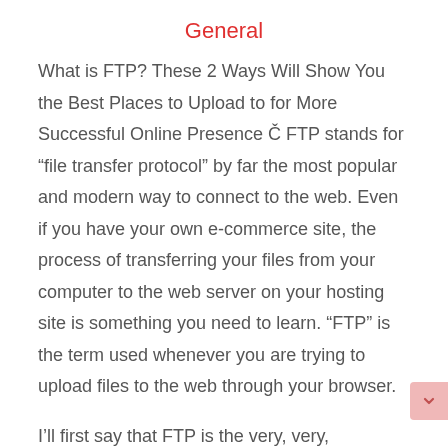General
What is FTP? These 2 Ways Will Show You the Best Places to Upload to for More Successful Online Presence Č FTP stands for “file transfer protocol” by far the most popular and modern way to connect to the web. Even if you have your own e-commerce site, the process of transferring your files from your computer to the web server on your hosting site is something you need to learn. “FTP” is the term used whenever you are trying to upload files to the web through your browser.
I’ll first say that FTP is the very, very, backbone of the internet. Without FTP, you can’t connect to the web and you can’t e-commerce site online. Before we learn what FTP is, let me cover a couple of things...